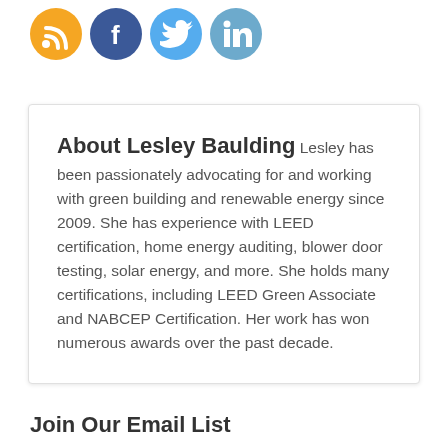[Figure (illustration): Four social media icon circles: RSS (orange), Facebook (dark blue), Twitter (light blue), LinkedIn (blue)]
About Lesley Baulding Lesley has been passionately advocating for and working with green building and renewable energy since 2009. She has experience with LEED certification, home energy auditing, blower door testing, solar energy, and more. She holds many certifications, including LEED Green Associate and NABCEP Certification. Her work has won numerous awards over the past decade.
Join Our Email List